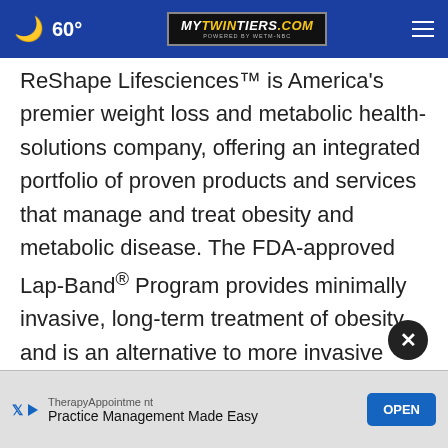60° MyTwinTiers.com
ReShape Lifesciences™ is America's premier weight loss and metabolic health-solutions company, offering an integrated portfolio of proven products and services that manage and treat obesity and metabolic disease. The FDA-approved Lap-Band® Program provides minimally invasive, long-term treatment of obesity and is an alternative to more invasive surgical stapling procedures such as the gastric bypass or sleeve gastrectomy. The ReShape Vest™ ... the U.S.) minimally invasive, laparoscopically
[Figure (other): TherapyAppointment advertisement banner: 'Practice Management Made Easy' with OPEN button]